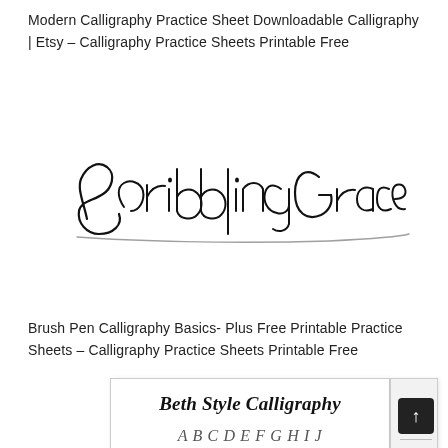Modern Calligraphy Practice Sheet Downloadable Calligraphy | Etsy – Calligraphy Practice Sheets Printable Free
[Figure (illustration): Hand-lettered calligraphy script reading 'Scribbling Grace' in an elegant black ink style on white background]
Brush Pen Calligraphy Basics- Plus Free Printable Practice Sheets – Calligraphy Practice Sheets Printable Free
[Figure (illustration): Partial view of a calligraphy practice sheet featuring 'Beth Style Calligraphy' heading in ornate script, followed by alphabet letters A B C D E F G H I J in calligraphic style, with guide lines]